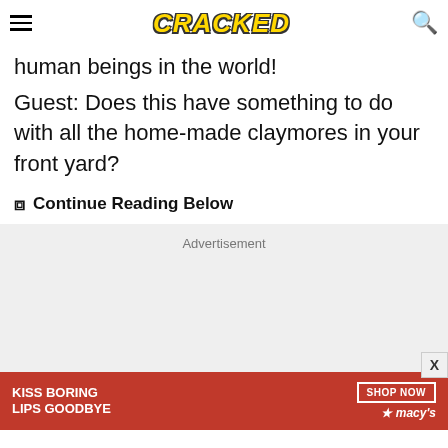CRACKED
human beings in the world!
Guest: Does this have something to do with all the home-made claymores in your front yard?
Continue Reading Below
[Figure (other): Advertisement placeholder box (gray background) with 'Advertisement' label and X close button]
[Figure (other): Macy's banner advertisement: 'KISS BORING LIPS GOODBYE' with SHOP NOW button and Macy's star logo on red background]